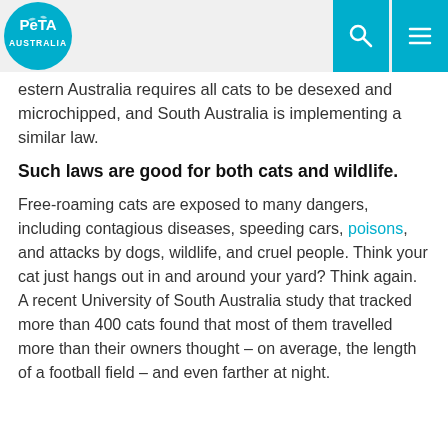PETA Australia [logo] [search icon] [menu icon]
estern Australia requires all cats to be desexed and microchipped, and South Australia is implementing a similar law.
Such laws are good for both cats and wildlife.
Free-roaming cats are exposed to many dangers, including contagious diseases, speeding cars, poisons, and attacks by dogs, wildlife, and cruel people. Think your cat just hangs out in and around your yard? Think again. A recent University of South Australia study that tracked more than 400 cats found that most of them travelled more than their owners thought – on average, the length of a football field – and even farther at night.